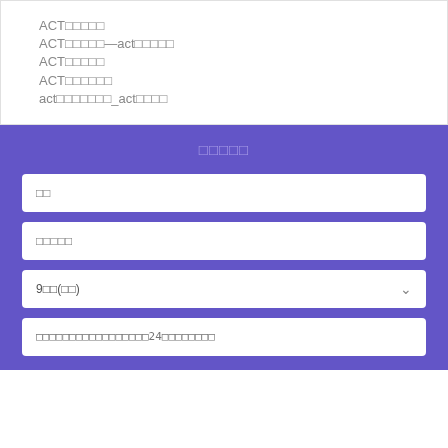ACT□□□□□
ACT□□□□□—act□□□□□
ACT□□□□□
ACT□□□□□□
act□□□□□□□_act□□□□
□□□□□
□□
□□□□□
9□□(□□)
□□□□□□□□□□□□□□□□□24□□□□□□□□